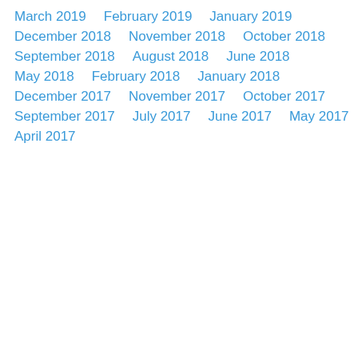March 2019
February 2019
January 2019
December 2018
November 2018
October 2018
September 2018
August 2018
June 2018
May 2018
February 2018
January 2018
December 2017
November 2017
October 2017
September 2017
July 2017
June 2017
May 2017
April 2017